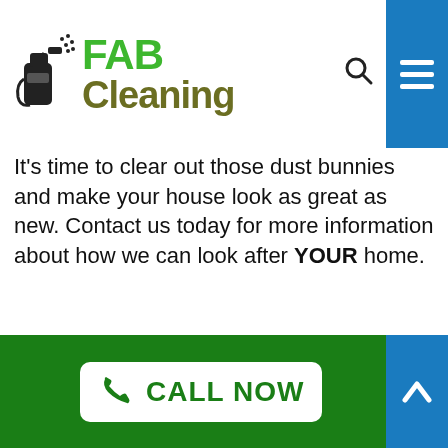[Figure (logo): FAB Cleaning logo with spray bottle icon, green FAB text and olive Cleaning text]
It's time to clear out those dust bunnies and make your house look as great as new. Contact us today for more information about how we can look after YOUR home.
[Figure (photo): Photo of a person in a blue head covering cleaning a white wall or curtain area, blurred]
CALL NOW